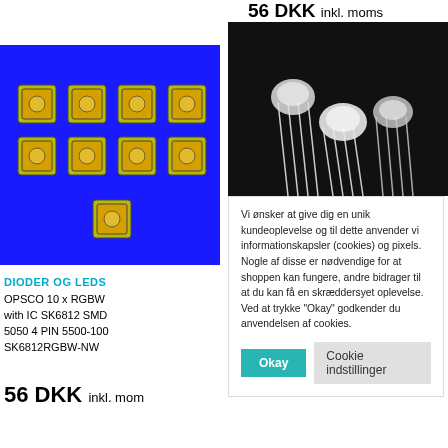56 DKK inkl. moms
[Figure (photo): Blue background with RGBW SMD LED chips arranged in a 3x3 grid pattern]
[Figure (photo): Black background with through-hole LED components showing multiple wire leads]
DIODER OG LEDS
OPSCO 10 x RGBW with IC SK6812 SMD 5050 4 PIN 5500-100 SK6812RGBW-NW
56 DKK inkl. mom
Vi ønsker at give dig en unik kundeoplevelse og til dette anvender vi informationskapsler (cookies) og pixels. Nogle af disse er nødvendige for at shoppen kan fungere, andre bidrager til at du kan få en skræddersyet oplevelse. Ved at trykke "Okay" godkender du anvendelsen af cookies.
Okay
Cookie indstillinger